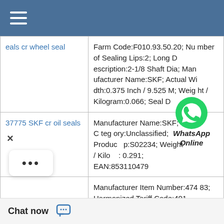| Product | Description |
| --- | --- |
| eals cr wheel seal | Farm Code:F010.93.50.20; Number of Sealing Lips:2; Long Description:2-1/8 Shaft Dia; Manufacturer Name:SKF; Actual Width:0.375 Inch / 9.525 M; Weight / Kilogram:0.066; Seal D |
| 37775 SKF cr oil seals | Manufacturer Name:SKF; Category:Unclassified; Product Group:S02234; Weight / Kilogram:0.291; EAN:853110479... |
| X975X22 HS8 D SKF cr | Manufacturer Item Number:47483; Harmonized Tariff Code:4016.93.50.20; Generic Design Code:C_R_SCOT1; Spring Loaded:Yes; Actual Width:1.063 Inch / 27 Mill; Weight / LBS:0.719; EA 26; Long Descripti... ft Dia; Type of Sea... e Construction:St |
[Figure (logo): WhatsApp online chat button with green WhatsApp icon and italic bold text 'WhatsApp Online']
Chat now